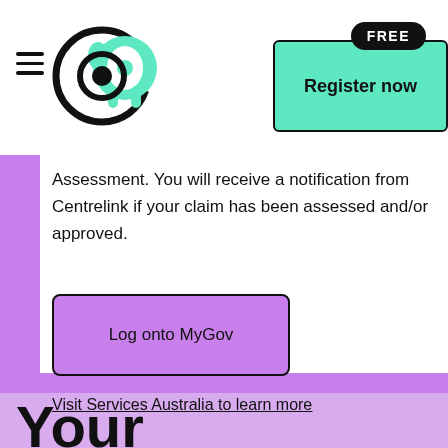[Figure (logo): Circular logo with stylized 'ca' letters in black outline and teal/mint elephant shape]
Register now
Assessment. You will receive a notification from Centrelink if your claim has been assessed and/or approved.
Log onto MyGov
Visit Services Australia to learn more
Your